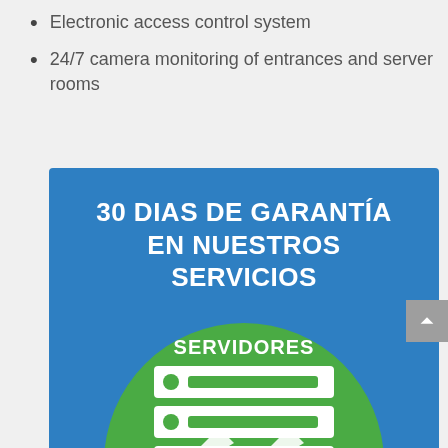Electronic access control system
24/7 camera monitoring of entrances and server rooms
[Figure (infographic): Blue background banner with text '30 DIAS DE GARANTÍA EN NUESTROS SERVICIOS' and a green circle containing a server rack icon with label 'SERVIDORES']